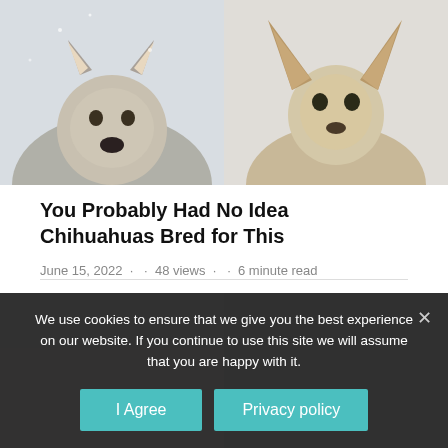[Figure (photo): Two dogs close-up: a wolf-like dog on the left in a snowy setting and a chihuahua on the right on a light background]
You Probably Had No Idea Chihuahuas Bred for This
June 15, 2022 · · 48 views · · 6 minute read
25 Most Popular Small Breed Dogs in America: 2021.
June 15, 2022 · · 25 views · · 8 minute read
[Figure (photo): Partial dark image of dogs, partially obscured by cookie consent banner]
We use cookies to ensure that we give you the best experience on our website. If you continue to use this site we will assume that you are happy with it.